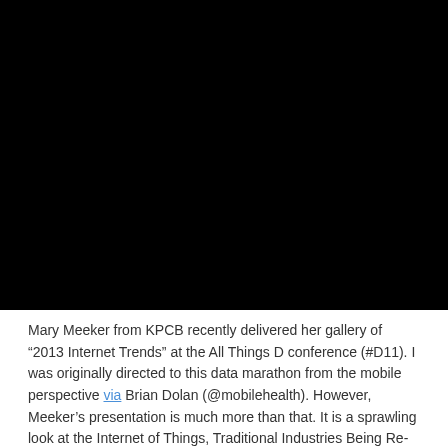[Figure (photo): Black rectangle representing an embedded image or video placeholder]
Mary Meeker from KPCB recently delivered her gallery of “2013 Internet Trends” at the All Things D conference (#D11). I was originally directed to this data marathon from the mobile perspective via Brian Dolan (@mobilehealth). However, Meeker’s presentation is much more than that. It is a sprawling look at the Internet of Things, Traditional Industries Being Re-Imagined, and